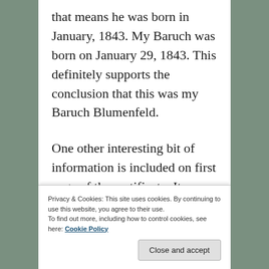that means he was born in January, 1843. My Baruch was born on January 29, 1843. This definitely supports the conclusion that this was my Baruch Blumenfeld.

One other interesting bit of information is included on first page of the certificate. It reports that he had been living in the US
Privacy & Cookies: This site uses cookies. By continuing to use this website, you agree to their use.
To find out more, including how to control cookies, see here: Cookie Policy
Close and accept